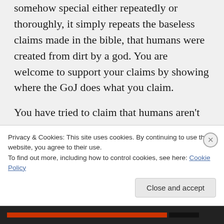somehow special either repeatedly or thoroughly, it simply repeats the baseless claims made in the bible, that humans were created from dirt by a god. You are welcome to support your claims by showing where the GoJ does what you claim.

You have tried to claim that humans aren't merely biological creatures,
Privacy & Cookies: This site uses cookies. By continuing to use this website, you agree to their use.
To find out more, including how to control cookies, see here: Cookie Policy
Close and accept